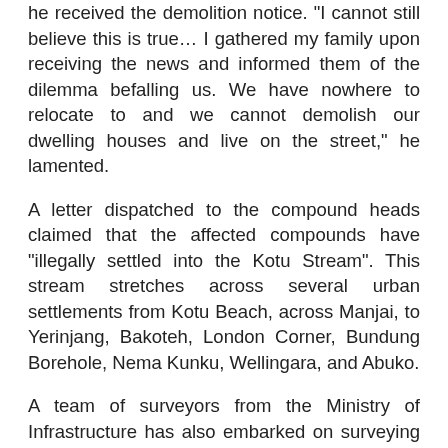he received the demolition notice. "I cannot still believe this is true… I gathered my family upon receiving the news and informed them of the dilemma befalling us. We have nowhere to relocate to and we cannot demolish our dwelling houses and live on the street," he lamented.
A letter dispatched to the compound heads claimed that the affected compounds have "illegally settled into the Kotu Stream". This stream stretches across several urban settlements from Kotu Beach, across Manjai, to Yerinjang, Bakoteh, London Corner, Bundung Borehole, Nema Kunku, Wellingara, and Abuko.
A team of surveyors from the Ministry of Infrastructure has also embarked on surveying exercise and settlements that would be affected by the demolition and reconstruction exercise.
The President and the Vice President of the Republic have earlier visited the affected areas. It was suggested that